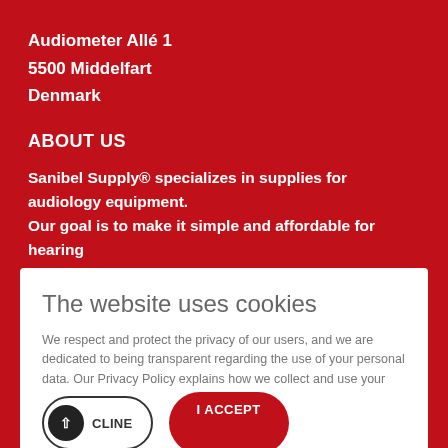Audiometer Allé 1
5500 Middelfart
Denmark
ABOUT US
Sanibel Supply® specializes in supplies for audiology equipment. Our goal is to make it simple and affordable for hearing professionals to buy supplies. We produce our own line of quality
The website uses cookies
We respect and protect the privacy of our users, and we are dedicated to being transparent regarding the use of your personal data. Our Privacy Policy explains how we collect and use your personal data. You must be 18 years or older to use our website. Please read our full cookie policy.
DECLINE
I ACCEPT